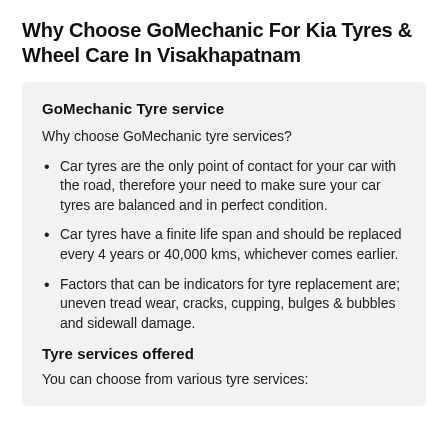Why Choose GoMechanic For Kia Tyres & Wheel Care In Visakhapatnam
GoMechanic Tyre service
Why choose GoMechanic tyre services?
Car tyres are the only point of contact for your car with the road, therefore your need to make sure your car tyres are balanced and in perfect condition.
Car tyres have a finite life span and should be replaced every 4 years or 40,000 kms, whichever comes earlier.
Factors that can be indicators for tyre replacement are; uneven tread wear, cracks, cupping, bulges & bubbles and sidewall damage.
Tyre services offered
You can choose from various tyre services: